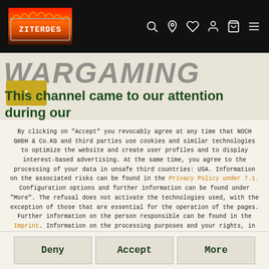ZITERDES logo and navigation icons: search, location, heart, user, cart, menu
WARGAMING
This channel came to our attention during our
By clicking on "Accept" you revocably agree at any time that NOCH GmbH & Co.KG and third parties use cookies and similar technologies to optimize the website and create user profiles and to display interest-based advertising. At the same time, you agree to the processing of your data in unsafe third countries: USA. Information on the associated risks can be found in the Privacy Policy under 7.1. Configuration options and further information can be found under "More". The refusal does not activate the technologies used, with the exception of those that are essential for the operation of the pages. Further information on the person responsible can be found in the Imprint. Information on the processing purposes and your rights, in particular the right of withdrawal, can be found in our data protection declaration.
Deny
Accept
More